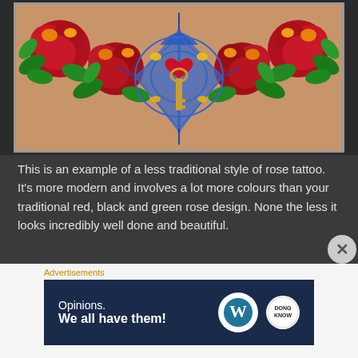[Figure (photo): A colorful rose tattoo on someone's chest/sternum area. The tattoo features large red roses with green leaves, yellow highlights, and a central blue spider web design with a heart and key motif. Very vibrant, non-traditional style with many colours including red, orange, yellow, green, and blue.]
This is an example of a less traditional style of rose tattoo. It's more modern and involves a lot more colours than your traditional red, black and green rose design. None the less it looks incredibly well done and beautiful.
Hip design
Advertisements
[Figure (screenshot): WordPress advertisement banner. Dark navy background with white text reading 'Opinions. We all have them!' alongside WordPress logo (circular W) and another circular logo on the right.]